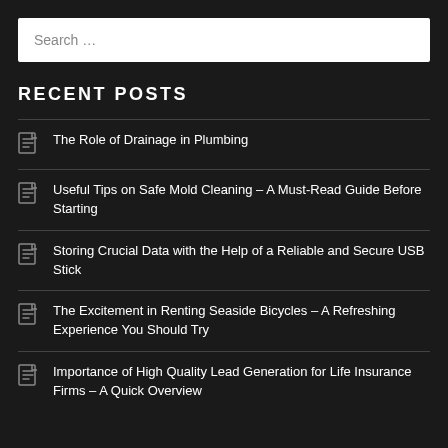Search …
RECENT POSTS
The Role of Drainage in Plumbing
Useful Tips on Safe Mold Cleaning – A Must-Read Guide Before Starting
Storing Crucial Data with the Help of a Reliable and Secure USB Stick
The Excitement in Renting Seaside Bicycles – A Refreshing Experience You Should Try
Importance of High Quality Lead Generation for Life Insurance Firms – A Quick Overview